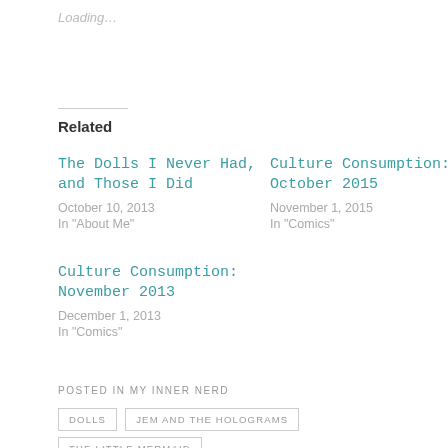Loading...
Related
The Dolls I Never Had, and Those I Did
October 10, 2013
In "About Me"
Culture Consumption: October 2015
November 1, 2015
In "Comics"
Culture Consumption: November 2013
December 1, 2013
In "Comics"
POSTED IN MY INNER NERD
DOLLS
JEM AND THE HOLOGRAMS
THE LITTLE MERMAID